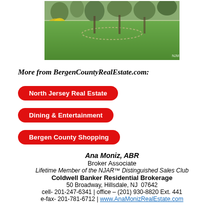[Figure (photo): Outdoor yard/lawn photo with trees and yellow flowering shrub, watermark NJMLS in bottom right]
More from BergenCountyRealEstate.com:
North Jersey Real Estate
Dining & Entertainment
Bergen County Shopping
Ana Moniz, ABR
Broker Associate
Lifetime Member of the NJAR™ Distinguished Sales Club
Coldwell Banker Residential Brokerage
50 Broadway, Hillsdale, NJ  07642
cell- 201-247-6341 | office – (201) 930-8820 Ext. 441
e-fax- 201-781-6712 | www.AnaMonizRealEstate.com